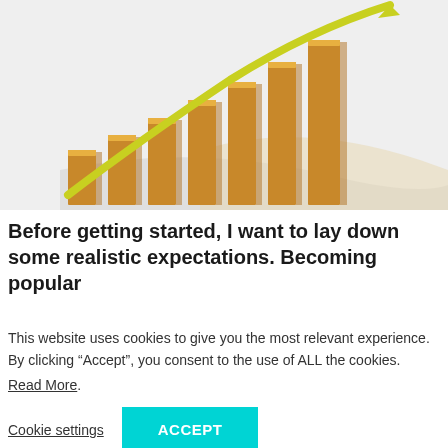[Figure (illustration): 3D golden/amber bar chart with bars increasing in height from left to right, with a yellow-green upward curving arrow overlay, on a light grey/white background]
Before getting started, I want to lay down some realistic expectations. Becoming popular
This website uses cookies to give you the most relevant experience. By clicking “Accept”, you consent to the use of ALL the cookies.
Read More.
Cookie settings
ACCEPT